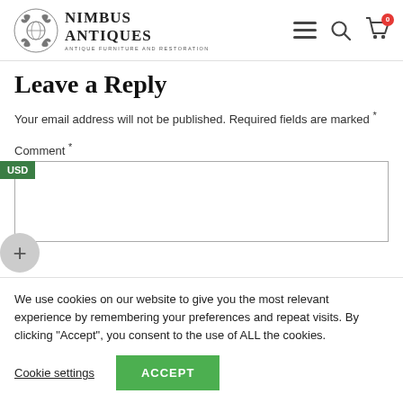Nimbus Antiques — Antique Furniture and Restoration
Leave a Reply
Your email address will not be published. Required fields are marked *
Comment *
We use cookies on our website to give you the most relevant experience by remembering your preferences and repeat visits. By clicking "Accept", you consent to the use of ALL the cookies.
Cookie settings  ACCEPT